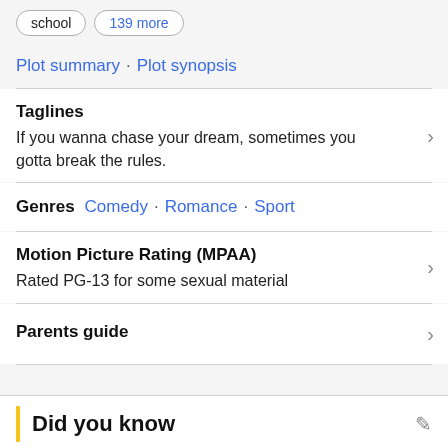school
139 more
Plot summary · Plot synopsis
Taglines
If you wanna chase your dream, sometimes you gotta break the rules.
Genres  Comedy · Romance · Sport
Motion Picture Rating (MPAA)
Rated PG-13 for some sexual material
Parents guide
Did you know